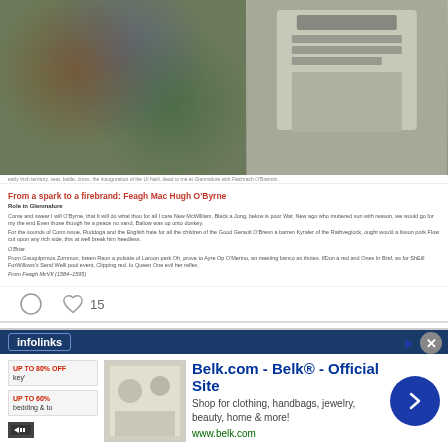[Figure (screenshot): Social media post with two images: left shows a colorful battle/crowd scene painting, right shows a stone memorial/gravestone. Below is article text with red title 'From a spark to a firebrand: Feagh Mac Hugh O'Byrne' and body text in two columns, with a verse/poem section on the right.]
From a spark to a firebrand: Feagh Mac Hugh O'Byrne
Like icons and 15 likes shown
[Figure (screenshot): Twitter/social card showing Stair na h... account (@Sta...) with Irish flag avatar and Twitter bird logo, posting '#OTD in 1869 - Birth of [Tom Kiely, in']
#OTD in 1869 – Birth of [e, Tom Kiely, in
Stair na h... @Sta... · 4h
[Figure (screenshot): Advertisement banner: infolinks bar at top, Belk.com ad with 'Belk® - Official Site', 'Shop for clothing, handbags, jewelry, beauty, home & more!', 'www.belk.com'. Close button X visible. Small left side items showing discount text.]